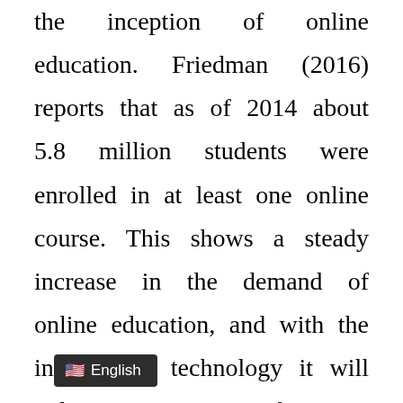the inception of online education. Friedman (2016) reports that as of 2014 about 5.8 million students were enrolled in at least one online course. This shows a steady increase in the demand of online education, and with the increase of technology it will only continue to rise. There was a time when people in Belize had little access to technology, but now it's becoming more affordable and people are starting to look at alternative options when going back to school. Online education brings the university at your fingertips with the click of